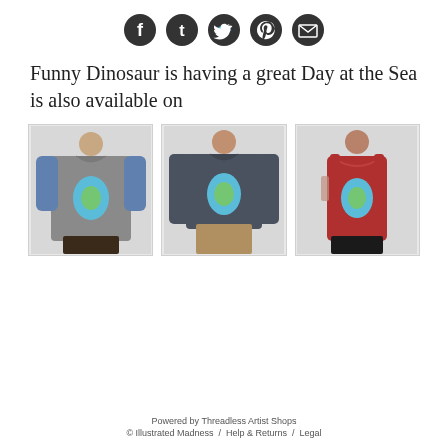[Figure (infographic): Row of 5 social media share icons (Facebook, Tumblr, Twitter, Pinterest, Email) as dark circular buttons]
Funny Dinosaur is having a great Day at the Sea is also available on
[Figure (photo): Three product photos side by side: a grey/blue raglan baseball tee, a dark grey long-sleeve tee, and a red racerback tank top, each featuring a dinosaur graphic print on the chest]
Powered by Threadless Artist Shops
© Illustrated Madness / Help & Returns / Legal